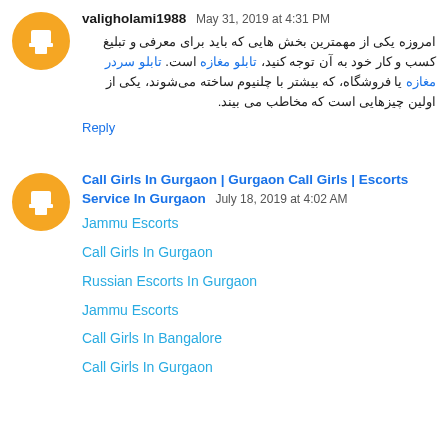valigholami1988  May 31, 2019 at 4:31 PM
امروزه یکی از مهمترین بخش هایی که باید برای معرفی و تبلیغ کسب و کار خود به آن توجه کنید، تابلو مغازه است. تابلو سردر مغازه یا فروشگاه، که بیشتر با چلنیوم ساخته می‌شوند، یکی از اولین چیزهایی است که مخاطب می بیند.
Reply
Call Girls In Gurgaon | Gurgaon Call Girls | Escorts Service In Gurgaon  July 18, 2019 at 4:02 AM
Jammu Escorts
Call Girls In Gurgaon
Russian Escorts In Gurgaon
Jammu Escorts
Call Girls In Bangalore
Call Girls In Gurgaon